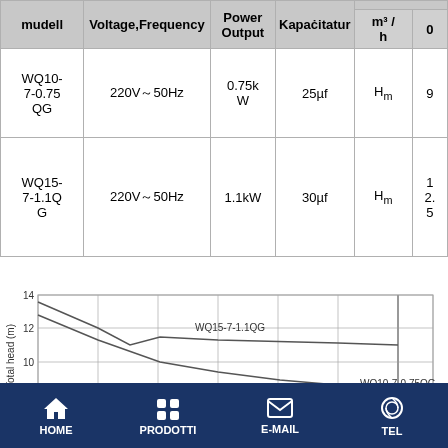| mudell | Voltage,Frequency | Power Output | Kapaċitatur | m³/h | 0 |
| --- | --- | --- | --- | --- | --- |
| WQ10-7-0.75 QG | 220V～50Hz | 0.75kW | 25µf | Hₘ | 9 |
| WQ15-7-1.1QG | 220V～50Hz | 1.1kW | 30µf | Hₘ | 1 2. 5 |
[Figure (continuous-plot): Total head (m) vs flow rate chart showing performance curves for WQ15-7-1.1QG and WQ10-7-0.75QG pump models. Y-axis shows total head from 10 to 14 m. Two curves are shown.]
HOME   PRODOTTI   E-MAIL   TEL